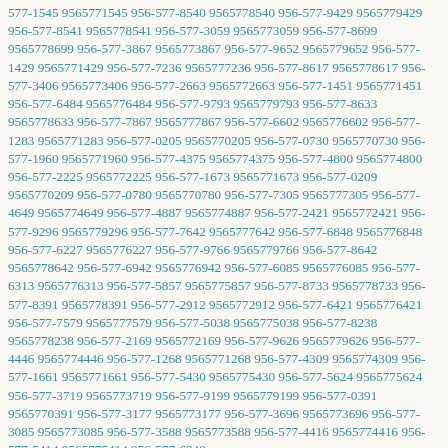577-1545 9565771545 956-577-8540 9565778540 956-577-9429 9565779429 956-577-8541 9565778541 956-577-3059 9565773059 956-577-8699 9565778699 956-577-3867 9565773867 956-577-9652 9565779652 956-577-1429 9565771429 956-577-7236 9565777236 956-577-8617 9565778617 956-577-3406 9565773406 956-577-2663 9565772663 956-577-1451 9565771451 956-577-6484 9565776484 956-577-9793 9565779793 956-577-8633 9565778633 956-577-7867 9565777867 956-577-6602 9565776602 956-577-1283 9565771283 956-577-0205 9565770205 956-577-0730 9565770730 956-577-1960 9565771960 956-577-4375 9565774375 956-577-4800 9565774800 956-577-2225 9565772225 956-577-1673 9565771673 956-577-0209 9565770209 956-577-0780 9565770780 956-577-7305 9565777305 956-577-4649 9565774649 956-577-4887 9565774887 956-577-2421 9565772421 956-577-9296 9565779296 956-577-7642 9565777642 956-577-6848 9565776848 956-577-6227 9565776227 956-577-9766 9565779766 956-577-8642 9565778642 956-577-6942 9565776942 956-577-6085 9565776085 956-577-6313 9565776313 956-577-5857 9565775857 956-577-8733 9565778733 956-577-8391 9565778391 956-577-2912 9565772912 956-577-6421 9565776421 956-577-7579 9565777579 956-577-5038 9565775038 956-577-8238 9565778238 956-577-2169 9565772169 956-577-9626 9565779626 956-577-4446 9565774446 956-577-1268 9565771268 956-577-4309 9565774309 956-577-1661 9565771661 956-577-5430 9565775430 956-577-5624 9565775624 956-577-3719 9565773719 956-577-9199 9565779199 956-577-0391 9565770391 956-577-3177 9565773177 956-577-3696 9565773696 956-577-3085 9565773085 956-577-3588 9565773588 956-577-4416 9565774416 956-577-5414 9565775414 956-577-6248